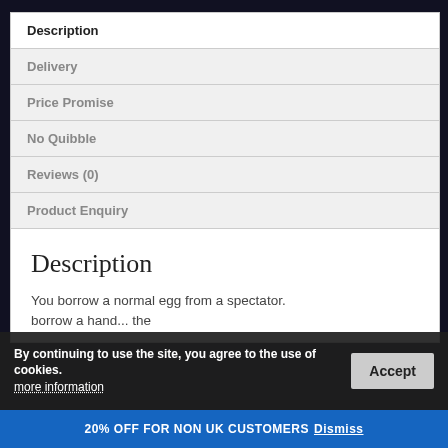Description
Delivery
Price Promise
No Quibble
Reviews (0)
Product Enquiry
Description
You borrow a normal egg from a spectator, borrow a hand... the
By continuing to use the site, you agree to the use of cookies. more information Accept
20% OFF FOR NON UK CUSTOMERS Dismiss